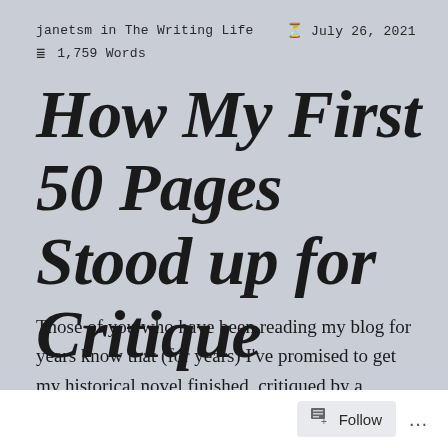janetsm in The Writing Life   ⏰ July 26, 2021   ☰ 1,759 Words
How My First 50 Pages Stood up for Critique
Those of you who have been reading my blog for years know that (for years) I’ve promised to get my historical novel finished, critiqued by a professional,
Follow ...